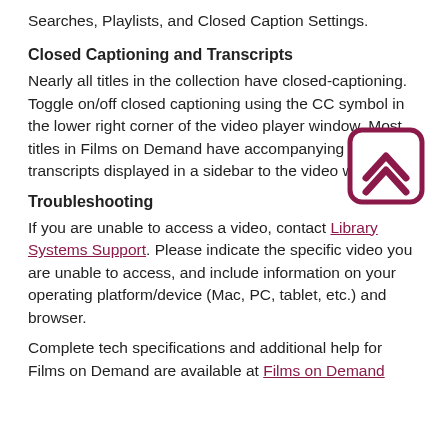Searches, Playlists, and Closed Caption Settings.
Closed Captioning and Transcripts
Nearly all titles in the collection have closed-captioning. Toggle on/off closed captioning using the CC symbol in the lower right corner of the video player window. Most titles in Films on Demand have accompanying scrolling transcripts displayed in a sidebar to the video window.
[Figure (illustration): A rounded square icon with a dark pink/maroon border containing two upward-pointing chevron arrows in dark pink/maroon color, representing a scroll-to-top or navigation button.]
Troubleshooting
If you are unable to access a video, contact Library Systems Support. Please indicate the specific video you are unable to access, and include information on your operating platform/device (Mac, PC, tablet, etc.) and browser.
Complete tech specifications and additional help for Films on Demand are available at Films on Demand